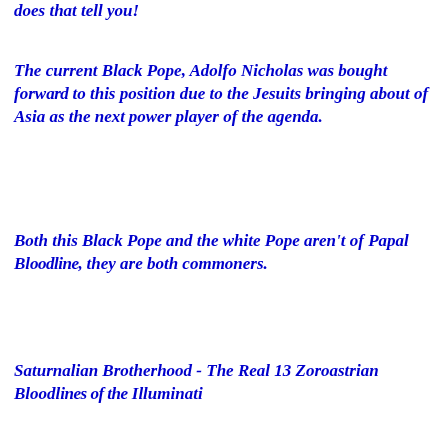does that tell you!
The current Black Pope, Adolfo Nicholas was bought forward to this position due to the Jesuits bringing about of Asia as the next power player of the agenda.
Both this Black Pope and the white Pope aren't of Papal Bloodline, they are both commoners.
Saturnalian Brotherhood - The Real 13 Zoroastrian Bloodlines of the Illuminati